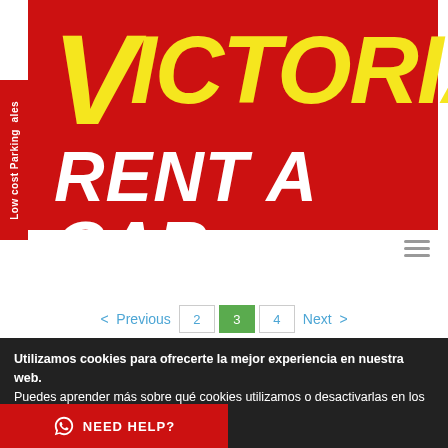[Figure (logo): Victoria Rent A Car logo: red background with large yellow italic V and ICTORIA text, white italic RENT A CAR text below]
Low cost Parking ales
< Previous  2  3  4  Next >
Utilizamos cookies para ofrecerte la mejor experiencia en nuestra web.
Puedes aprender más sobre qué cookies utilizamos o desactivarlas en los ajustes.
NEED HELP?